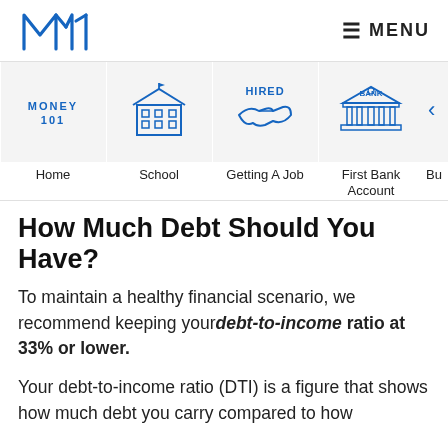M1 Finance logo | MENU
[Figure (infographic): Navigation category icons row: Home (Money 101 text), School (building icon), Getting A Job (handshake with HIRED text), First Bank Account (bank building icon), partial icon cut off]
How Much Debt Should You Have?
To maintain a healthy financial scenario, we recommend keeping your debt-to-income ratio at 33% or lower.
Your debt-to-income ratio (DTI) is a figure that shows how much debt you carry compared to how